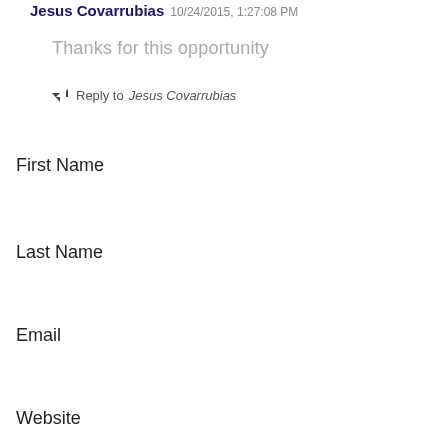Jesus Covarrubias 10/24/2015, 1:27:08 PM
Thanks for this opportunity
← Reply to Jesus Covarrubias
First Name
Last Name
Email
Website